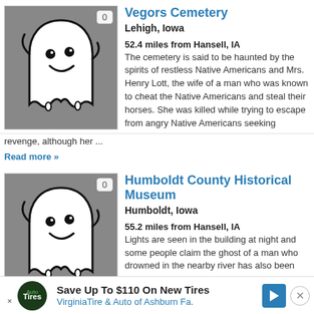[Figure (illustration): Cartoon ghost icon on gray background with badge showing 0]
Vegors Cemetery
Lehigh, Iowa
52.4 miles from Hansell, IA
The cemetery is said to be haunted by the spirits of restless Native Americans and Mrs. Henry Lott, the wife of a man who was known to cheat the Native Americans and steal their horses. She was killed while trying to escape from angry Native Americans seeking revenge, although her ...
Read more »
[Figure (illustration): Cartoon ghost icon on gray background with badge showing 0]
Humboldt County Historical Museum
Humboldt, Iowa
55.2 miles from Hansell, IA
Lights are seen in the building at night and some people claim the ghost of a man who drowned in the nearby river has also been
Read m...
Save Up To $110 On New Tires
VirginiaTire & Auto of Ashburn Fa.